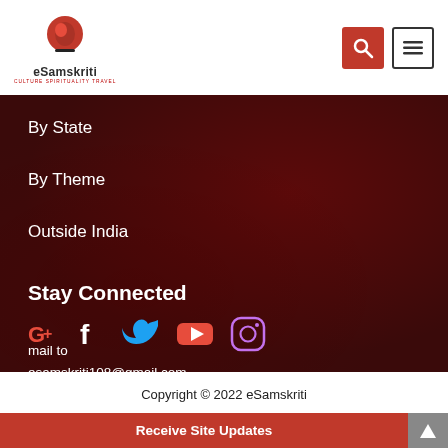eSamskriti — CULTURE SPIRITUALITY TRAVEL
By State
By Theme
Outside India
Stay Connected
[Figure (infographic): Social media icons row: Google+, Facebook, Twitter, YouTube, Instagram]
mail to
esamskriti108@gmail.com
Copyright © 2022 eSamskriti
Receive Site Updates